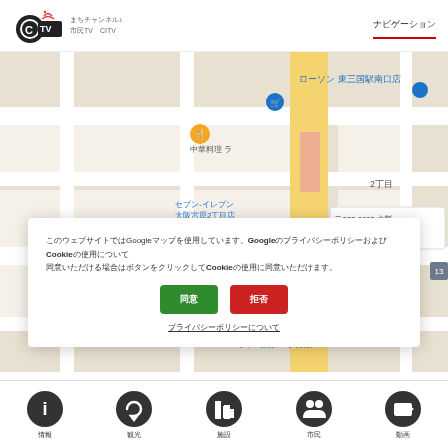CiTV logo with navigation
[Figure (map): Google Maps showing area around Osaka Miyahara, with streets, landmarks including ローソン 東三国駅南口店, セブン-イレブン 大阪宮原2丁目店, ローソン 宮原一丁目店, 北中島公園, 大阪府立東, 5丁目, 2丁目, map pin showing 〒532-0003 大阪府大阪市淀川区 宮原]
このウェブサイトではGoogleマップを使用しています。CookieやGoogleのプライバシーポリシーおよびCookieの使用について同意いただける場合はボタンをクリックしてください。
同意する / 同意しない
プライバシーポリシーについて
情報 / 観光 / 施設 / 市民 / 動画